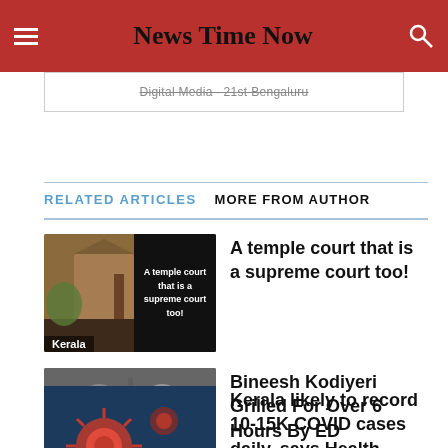News Time Now
Digital Media · 21st Bengaluru
RELATED ARTICLES  MORE FROM AUTHOR
[Figure (photo): Temple image with overlay card reading 'A temple court that is a supreme court too!' labeled Kerala]
A temple court that is a supreme court too!
[Figure (photo): Two men wearing white masks, labeled Kerala]
Bineesh Kodiyeri Grilled For Over 6 Hours By ED
[Figure (photo): Coronavirus cells on dark blue background, with text 'Coronavirus Kerala update']
Kerala likely to record 10-15K COVID cases daily, says Health Minister K Shailaja Teacher